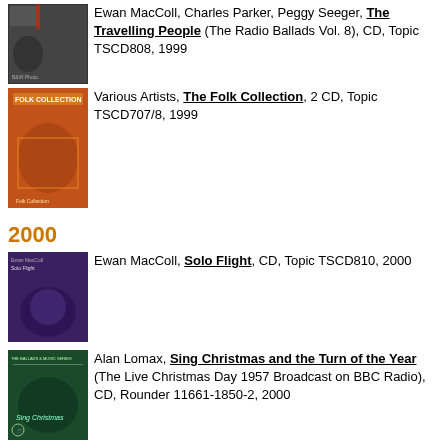[Figure (photo): Black and white album cover photo]
Ewan MacColl, Charles Parker, Peggy Seeger, The Travelling People (The Radio Ballads Vol. 8), CD, Topic TSCD808, 1999
[Figure (photo): Folk Collection album cover with orange background]
Various Artists, The Folk Collection, 2 CD, Topic TSCD707/8, 1999
2000
[Figure (photo): Ewan MacColl Solo Flight album cover with purple background]
Ewan MacColl, Solo Flight, CD, Topic TSCD810, 2000
[Figure (photo): Sing Christmas album cover with green background]
Alan Lomax, Sing Christmas and the Turn of the Year (The Live Christmas Day 1957 Broadcast on BBC Radio), CD, Rounder 11661-1850-2, 2000